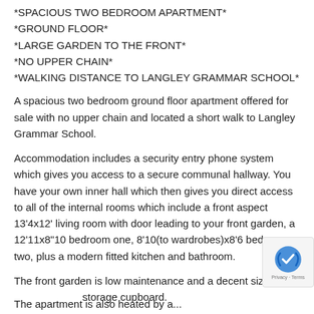*SPACIOUS TWO BEDROOM APARTMENT*
*GROUND FLOOR*
*LARGE GARDEN TO THE FRONT*
*NO UPPER CHAIN*
*WALKING DISTANCE TO LANGLEY GRAMMAR SCHOOL*
A spacious two bedroom ground floor apartment offered for sale with no upper chain and located a short walk to Langley Grammar School.
Accommodation includes a security entry phone system which gives you access to a secure communal hallway. You have your own inner hall which then gives you direct access to all of the internal rooms which include a front aspect 13'4x12' living room with door leading to your front garden, a 12'11x8"10 bedroom one, 8'10(to wardrobes)x8'6 bedroom two, plus a modern fitted kitchen and bathroom.
The front garden is low maintenance and a decent size and there is also a storage cupboard.
The apartment is also heated by a...